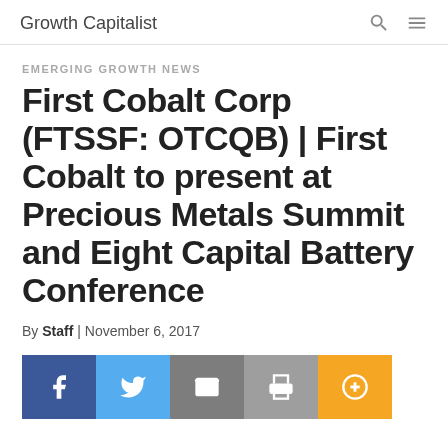Growth Capitalist
EMERGING GROWTH NEWS
First Cobalt Corp (FTSSF: OTCQB) | First Cobalt to present at Precious Metals Summit and Eight Capital Battery Conference
By Staff | November 6, 2017
[Figure (infographic): Social share buttons: Facebook (blue), Twitter (light blue), Email (grey), Print (grey), Plus/Add (orange)]